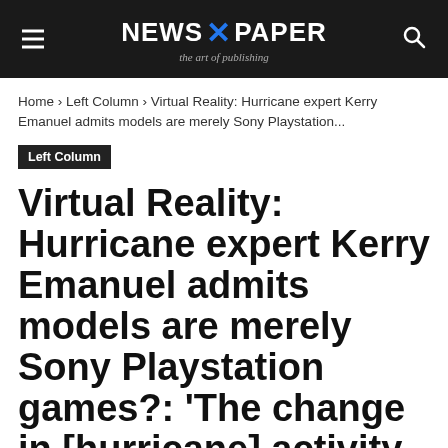NEWS X PAPER — the art of publishing
Home › Left Column › Virtual Reality: Hurricane expert Kerry Emanuel admits models are merely Sony Playstation...
Left Column
Virtual Reality: Hurricane expert Kerry Emanuel admits models are merely Sony Playstation games?: 'The change in [hurricane] activity depends very much on whose climate model you look at'